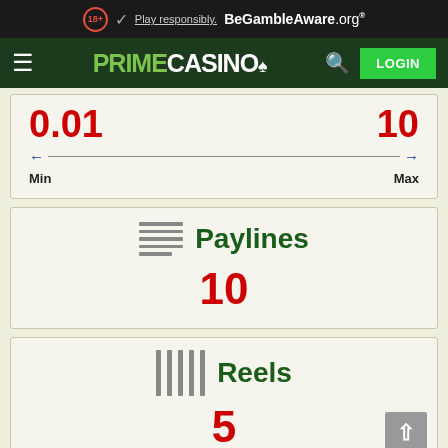18+ Play responsibly. BeGambleAware.org
[Figure (screenshot): Prime Casino navigation bar with hamburger menu, PRIMECASINO logo, search icon, and LOGIN button]
0.01   10
Min   Max
Paylines  10
Reels  5